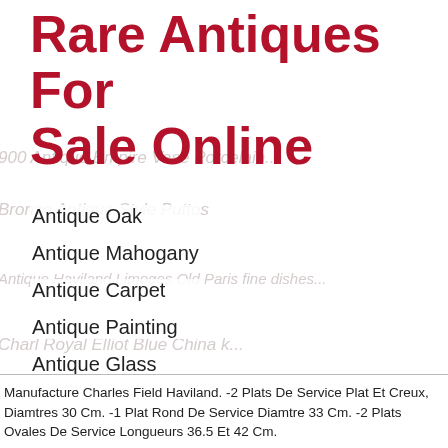Rare Antiques For Sale Online
Antique Oak
Antique Mahogany
Antique Carpet
Antique Painting
Antique Glass
Antique Plate
Manufacture Charles Field Haviland. -2 Plats De Service Plat Et Creux, Diamtres 30 Cm. -1 Plat Rond De Service Diamtre 33 Cm. -2 Plats Ovales De Service Longueurs 36.5 Et 42 Cm.